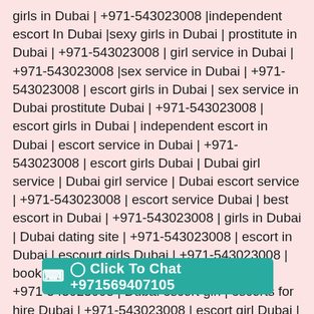girls in Dubai | +971-543023008 |independent escort In Dubai |sexy girls in Dubai | prostitute in Dubai | +971-543023008 | girl service in Dubai | +971-543023008 |sex service in Dubai | +971-543023008 | escort girls in Dubai | sex service in Dubai prostitute Dubai | +971-543023008 | escort girls in Dubai | independent escort in Dubai | escort service in Dubai | +971-543023008 | escort girls Dubai | Dubai girl service | Dubai girl service | Dubai escort service | +971-543023008 | escort service Dubai | best escort in Dubai | +971-543023008 | girls in Dubai | Dubai dating site | +971-543023008 | escort in Dubai | escourt girls Dubai | +971-543023008 | booking girl online Dubai |sexy girl in Dubai | +971-543023008 | Dubai escort girl | escorts for hire Dubai | +971-543023008 | escort girl Dubai | +971-543023008 | Dubai escort agency | Dubai sexy girl | +971-543023008 | escourts escort agency in Dubai | +971-543023008 | female escort in Dubai | Du... n escort Dubai | Dubai girls | +971-543023008 | escort in
Click To Chat +971569407105